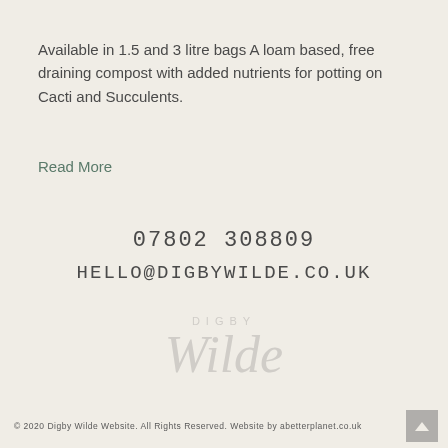Available in 1.5 and 3 litre bags A loam based, free draining compost with added nutrients for potting on Cacti and Succulents.
Read More
07802 308809
hello@digbywilde.co.uk
[Figure (logo): Digby Wilde brand logo with 'DIGBY' in spaced uppercase letters and 'Wilde' in large italic script, rendered in light grey]
© 2020 Digby Wilde Website. All Rights Reserved. Website by abetterplanet.co.uk